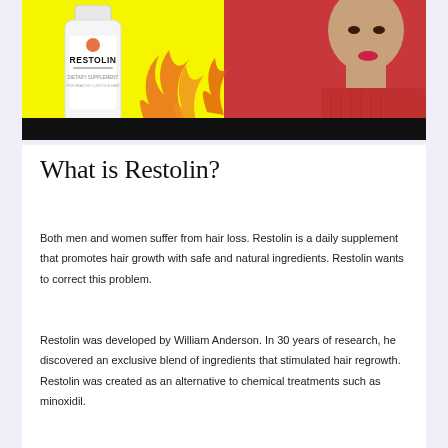[Figure (photo): Promotional image for Restolin supplement showing a white bottle labeled RESTOLIN with orange flame decorations on a yellow background on the left, and a woman in a red sleeveless top on the right, with a black bar at the bottom.]
What is Restolin?
Both men and women suffer from hair loss. Restolin is a daily supplement that promotes hair growth with safe and natural ingredients. Restolin wants to correct this problem.
Restolin was developed by William Anderson. In 30 years of research, he discovered an exclusive blend of ingredients that stimulated hair regrowth. Restolin was created as an alternative to chemical treatments such as minoxidil.